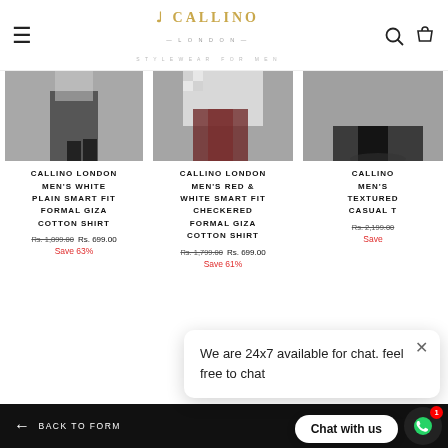CALLINO LONDON - STYLEWEAR FOR MEN
[Figure (photo): Three product images of men wearing shirts/clothing from Callino London]
CALLINO LONDON MEN'S WHITE PLAIN SMART FIT FORMAL GIZA COTTON SHIRT
Rs. 1,899.00 Rs. 699.00 Save 63%
CALLINO LONDON MEN'S RED & WHITE SMART FIT CHECKERED FORMAL GIZA COTTON SHIRT
Rs. 1,799.00 Rs. 699.00 Save 61%
CALLINO MEN'S TEXTURED CASUAL T
Rs. 2,199.00 Save
We are 24x7 available for chat. feel free to chat
← BACK TO FORM — Chat with us